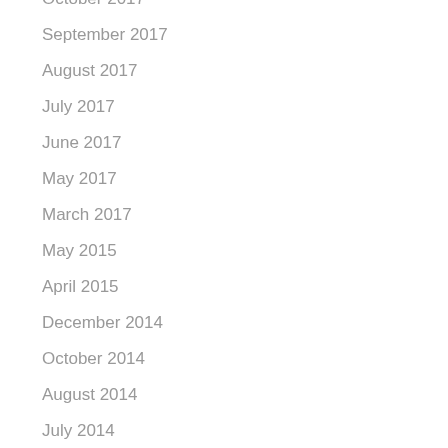October 2017
September 2017
August 2017
July 2017
June 2017
May 2017
March 2017
May 2015
April 2015
December 2014
October 2014
August 2014
July 2014
June 2014
May 2014